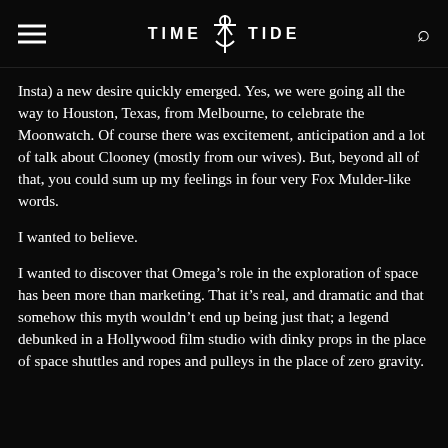TIME TIDE
Insta) a new desire quickly emerged. Yes, we were going all the way to Houston, Texas, from Melbourne, to celebrate the Moonwatch. Of course there was excitement, anticipation and a lot of talk about Clooney (mostly from our wives). But, beyond all of that, you could sum up my feelings in four very Fox Mulder-like words.
I wanted to believe.
I wanted to discover that Omega’s role in the exploration of space has been more than marketing. That it’s real, and dramatic and that somehow this myth wouldn’t end up being just that; a legend debunked in a Hollywood film studio with dinky props in the place of space shuttles and ropes and pulleys in the place of zero gravity.